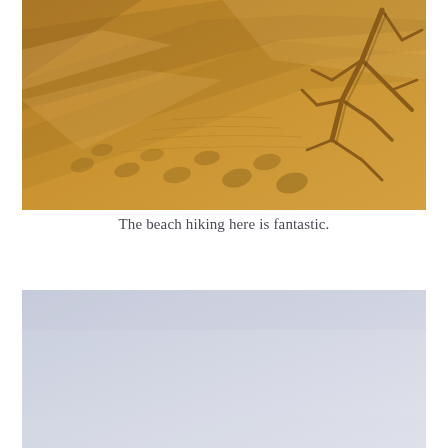[Figure (photo): Beach scene with footprints in warm golden sand and a piece of driftwood in the upper right corner. The sand shows ripple patterns and the lighting is warm/golden.]
The beach hiking here is fantastic.
[Figure (photo): A faded light gray-blue sky or hazy beach horizon scene, very minimal with a pale blue-grey gradient.]